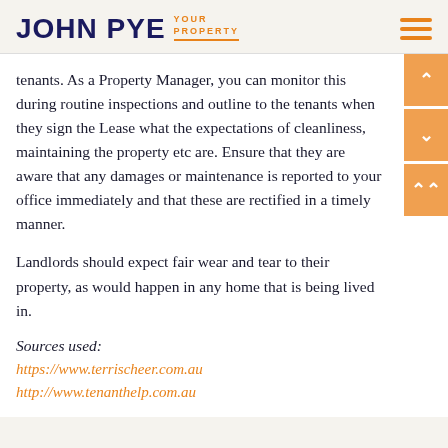JOHN PYE YOUR PROPERTY
tenants. As a Property Manager, you can monitor this during routine inspections and outline to the tenants when they sign the Lease what the expectations of cleanliness, maintaining the property etc are. Ensure that they are aware that any damages or maintenance is reported to your office immediately and that these are rectified in a timely manner.
Landlords should expect fair wear and tear to their property, as would happen in any home that is being lived in.
Sources used:
https://www.terrischeer.com.au
http://www.tenanthelp.com.au